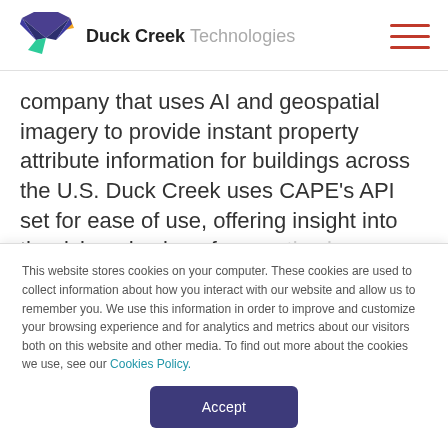Duck Creek Technologies
company that uses AI and geospatial imagery to provide instant property attribute information for buildings across the U.S. Duck Creek uses CAPE's API set for ease of use, offering insight into the risk and value of properties in a revolutionary way, and users
This website stores cookies on your computer. These cookies are used to collect information about how you interact with our website and allow us to remember you. We use this information in order to improve and customize your browsing experience and for analytics and metrics about our visitors both on this website and other media. To find out more about the cookies we use, see our Cookies Policy.
Accept